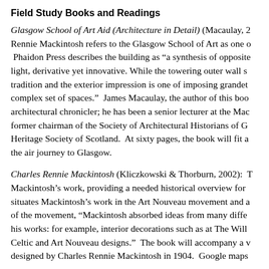Field Study Books and Readings
Glasgow School of Art Aid (Architecture in Detail) (Macaulay, 2... Rennie Mackintosh refers to the Glasgow School of Art as one o...  Phaidon Press describes the building as “a synthesis of opposite... light, derivative yet innovative. While the towering outer wall s... tradition and the exterior impression is one of imposing grandet... complex set of spaces.”  James Macaulay, the author of this boo... architectural chronicler; he has been a senior lecturer at the Mac... former chairman of the Society of Architectural Historians of G... Heritage Society of Scotland.  At sixty pages, the book will fit a... the air journey to Glasgow.
Charles Rennie Mackintosh (Kliczkowski & Thorburn, 2002): T... Mackintosh’s work, providing a needed historical overview for ... situates Mackintosh’s work in the Art Nouveau movement and a... of the movement, “Mackintosh absorbed ideas from many diffe... his works: for example, interior decorations such as at The Will... Celtic and Art Nouveau designs.”  The book will accompany a v... designed by Charles Rennie Mackintosh in 1904.  Google maps...